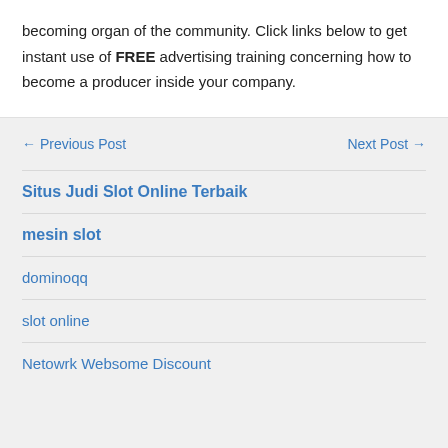becoming organ of the community. Click links below to get instant use of FREE advertising training concerning how to become a producer inside your company.
← Previous Post    Next Post →
Situs Judi Slot Online Terbaik
mesin slot
dominoqq
slot online
Netowrk Websome Discount